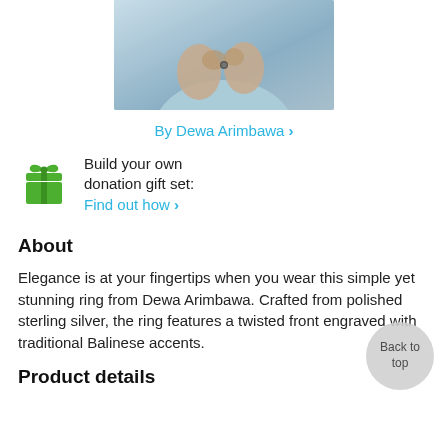[Figure (photo): Cropped photo of a person in a light blue shirt holding a small object (ring) in their hands]
By Dewa Arimbawa ›
Build your own donation gift set: Find out how ›
About
Elegance is at your fingertips when you wear this simple yet stunning ring from Dewa Arimbawa. Crafted from polished sterling silver, the ring features a twisted front engraved with traditional Balinese accents.
Product details